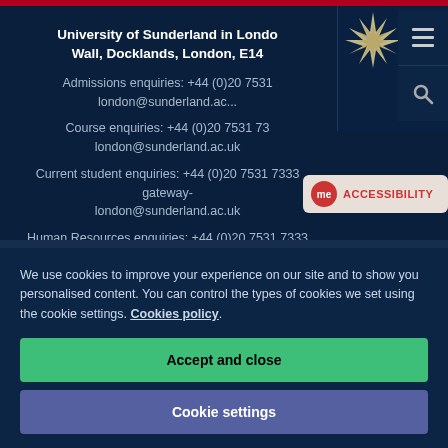University of Sunderland in London Wall, Docklands, London, E14
Admissions enquiries: +44 (0)20 7531 ... london@sunderland.ac...
Course enquiries: +44 (0)20 7531 73... london@sunderland.ac.uk
Current student enquiries: +44 (0)20 7531 7333 gateway-london@sunderland.ac.uk
Human Resources enquiries: +44 (0)20 7531 7333 human.resources-london@sunderland.ac.uk
We use cookies to improve your experience on our site and to show you personalised content. You can control the types of cookies we set using the cookie settings. Cookies policy
Accept and close
Cookie settings